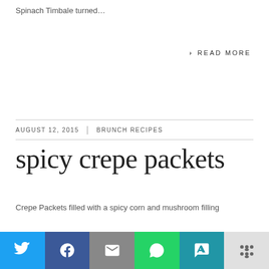Spinach Timbale turned...
> READ MORE
AUGUST 12, 2015 | BRUNCH RECIPES
spicy crepe packets
Crepe Packets filled with a spicy corn and mushroom filling
> READ MORE
[Figure (infographic): Social share bar with Twitter, Facebook, Email, WhatsApp, SMS, and More buttons]